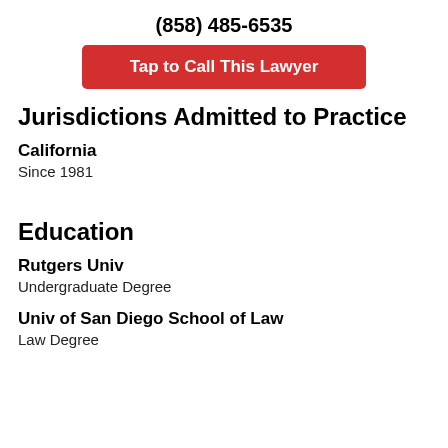(858) 485-6535
[Figure (other): Red button with white text: Tap to Call This Lawyer]
Jurisdictions Admitted to Practice
California
Since 1981
Education
Rutgers Univ
Undergraduate Degree
Univ of San Diego School of Law
Law Degree